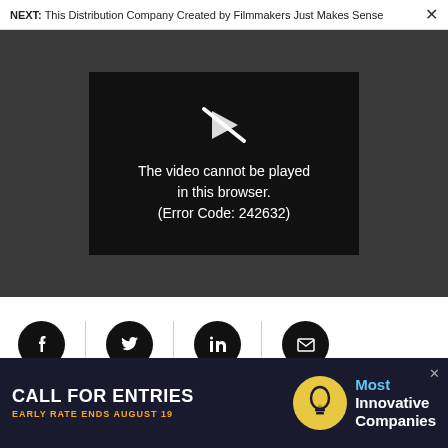NEXT: This Distribution Company Created by Filmmakers Just Makes Sense
[Figure (screenshot): Video player showing error message: 'The video cannot be played in this browser. (Error Code: 242632)' with a broken video icon on dark background]
[Figure (other): Social sharing buttons: Facebook, Twitter, LinkedIn, Email icons in black circles with dividers]
BY HARRY MCCRACKEN
[Figure (other): Advertisement banner: CALL FOR ENTRIES, EARLY RATE ENDS AUGUST 19, Most Innovative Companies, with lightbulb icon]